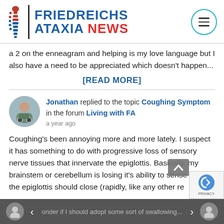FRIEDREICHS ATAXIA NEWS
a 2 on the enneagram and helping is my love language but I also have a need to be appreciated which doesn't happen...
[READ MORE]
Jonathan replied to the topic Coughing Symptom in the forum Living with FA
a year ago
Coughing's been annoying more and more lately. I suspect it has something to do with progressive loss of sensory nerve tissues that innervate the epiglottis. Basically, my brainstem or cerebellum is losing it's ability to sense when the epiglottis should close (rapidly, like any other re
onder if I should adopt some sort of swallowing...